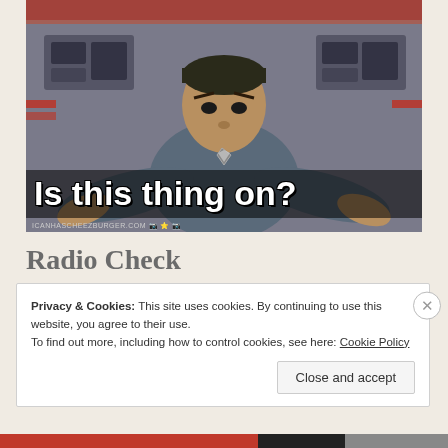[Figure (photo): Meme image of Spock from Star Trek in blue uniform on the bridge, leaning toward camera. White text overlay reads 'Is this thing on?' with ICANHASCHEEZBURGER.COM watermark at bottom.]
Radio Check
Privacy & Cookies: This site uses cookies. By continuing to use this website, you agree to their use.
To find out more, including how to control cookies, see here: Cookie Policy
Close and accept